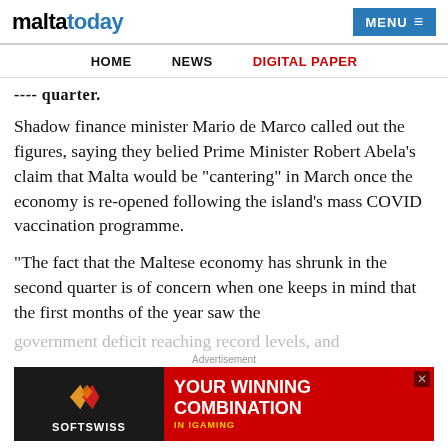maltatoday | MENU
HOME  NEWS  DIGITAL PAPER
---- quarter.
Shadow finance minister Mario de Marco called out the figures, saying they belied Prime Minister Robert Abela’s claim that Malta would be “cantering” in March once the economy is re-opened following the island’s mass COVID vaccination programme.
“The fact that the Maltese economy has shrunk in the second quarter is of concern when one keeps in mind that the first months of the year saw the government deficit reaching record levels, and public debt and expenditure soaring to new territories. This is
[Figure (screenshot): Advertisement banner for SOFTSWISS gaming affiliate platform showing logos and text 'YOUR WINNING COMBINATION IN IGAMING']